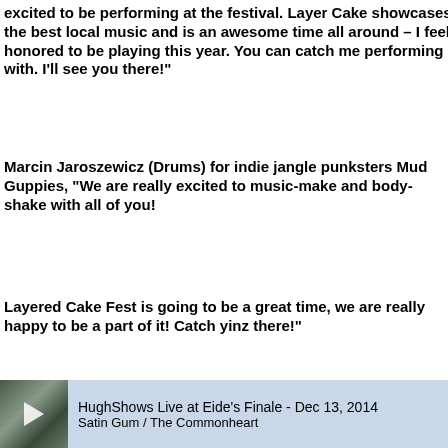excited to be performing at the festival. Layer Cake showcases the best local music and is an awesome time all around – I feel honored to be playing this year. You can catch me performing with. I'll see you there!"
Marcin Jaroszewicz (Drums) for indie jangle punksters Mud Guppies, "We are really excited to music-make and body-shake with all of you!
Layered Cake Fest is going to be a great time, we are really happy to be a part of it! Catch yinz there!"
Michael Berger (Bass) for space-jam funksters The Clock Reads, "We are very excited to return to Layer Cake. We had a fantastic experience in October and can't wait to do
HughShows Live at Eide's Finale - Dec 13, 2014
Satin Gum / The Commonheart